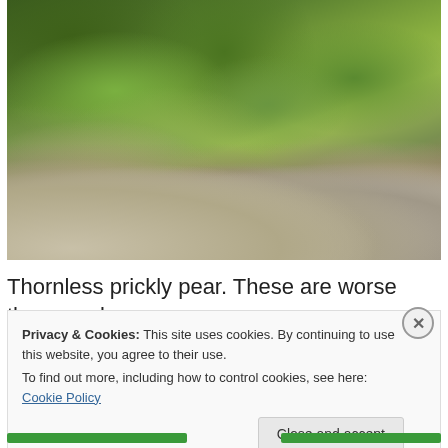[Figure (photo): Photograph of thornless prickly pear cactus plants with green paddle-shaped pads covered in small dots, surrounded by rocks and concrete blocks on the ground]
Thornless prickly pear. These are worse than regular
Privacy & Cookies: This site uses cookies. By continuing to use this website, you agree to their use.
To find out more, including how to control cookies, see here: Cookie Policy
Close and accept